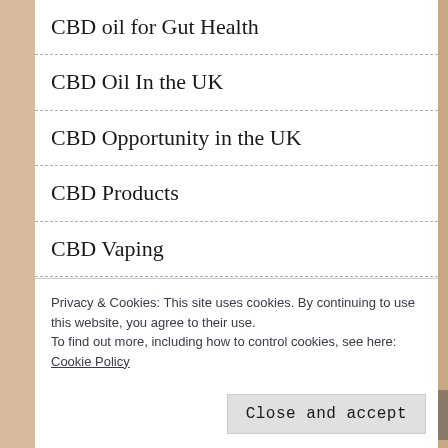CBD oil for Gut Health
CBD Oil In the UK
CBD Opportunity in the UK
CBD Products
CBD Vaping
CBD Weight Loss
Privacy & Cookies: This site uses cookies. By continuing to use this website, you agree to their use.
To find out more, including how to control cookies, see here:
Cookie Policy
Close and accept